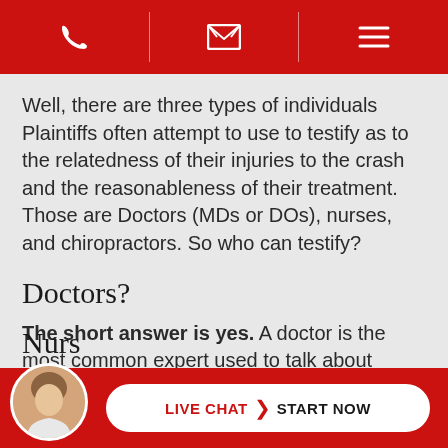[Navigation bar with phone, email, and menu icons]
Well, there are three types of individuals Plaintiffs often attempt to use to testify as to the relatedness of their injuries to the crash and the reasonableness of their treatment. Those are Doctors (MDs or DOs), nurses, and chiropractors. So who can testify?
Doctors?
The short answer is yes. A doctor is the most common expert used to talk about these issues and courts universally agree that they're qualified to do so.
Nurs
LIVE CHAT > START NOW